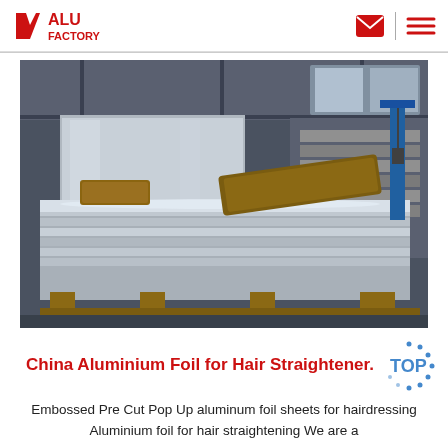ALU FACTORY
[Figure (photo): Industrial warehouse storing large stacks of aluminum sheets on pallets, with wooden spacers, in a factory setting with steel structure roof]
China Aluminium Foil for Hair Straightener.
Embossed Pre Cut Pop Up aluminum foil sheets for hairdressing Aluminium foil for hair straightening We are a